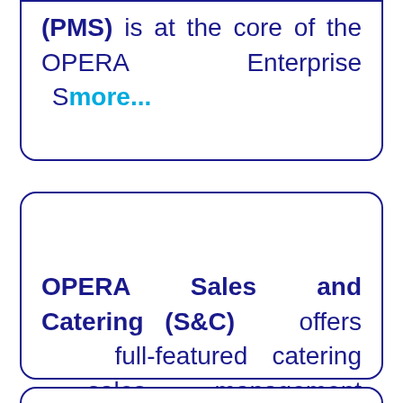(PMS) is at the core of the OPERA Enterprise S more...
OPERA Sales and Catering (S&C) offers full-featured catering sales management software for con more...